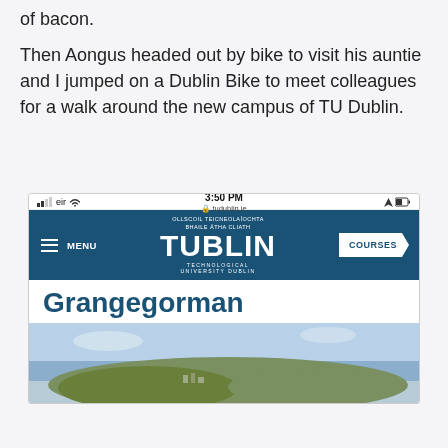of bacon.
Then Aongus headed out by bike to visit his auntie and I jumped on a Dublin Bike to meet colleagues for a walk around the new campus of TU Dublin.
[Figure (screenshot): Mobile phone screenshot showing the TU Dublin website (tudublin.ie) with navigation bar featuring MENU, TU DUBLIN logo, and COURSES button, followed by the Grangegorman heading and an aerial photo of the campus area.]